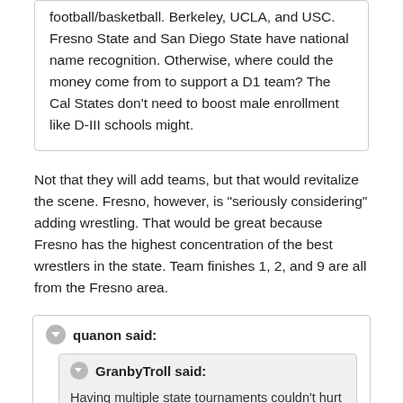football/basketball. Berkeley, UCLA, and USC. Fresno State and San Diego State have national name recognition. Otherwise, where could the money come from to support a D1 team? The Cal States don't need to boost male enrollment like D-III schools might.
Not that they will add teams, but that would revitalize the scene. Fresno, however, is "seriously considering" adding wrestling. That would be great because Fresno has the highest concentration of the best wrestlers in the state. Team finishes 1, 2, and 9 are all from the Fresno area.
quanon said:
GranbyTroll said:
Having multiple state tournaments couldn't hurt CA wrestlers with college wrestling exposure. Informed coaches and scouts know that the CA State tournament is the hardest